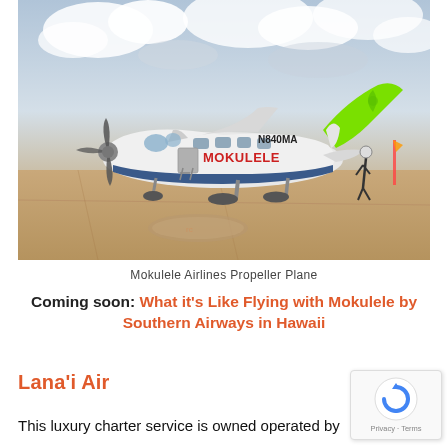[Figure (photo): A Mokulele Airlines propeller plane (Cessna Caravan, registration N840MA) with green and white livery parked on an airport tarmac under a cloudy sky. A person in uniform walks near the aircraft on the right side.]
Mokulele Airlines Propeller Plane
Coming soon: What it's Like Flying with Mokulele by Southern Airways in Hawaii
Lana'i Air
This luxury charter service is owned operated by